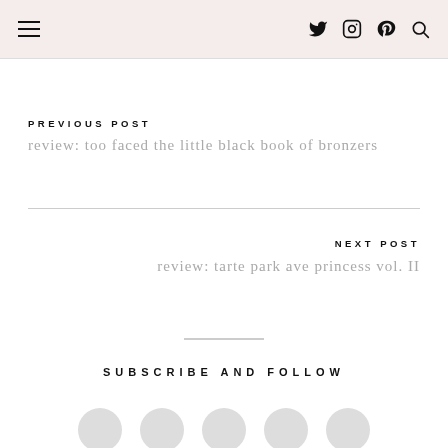navigation header with hamburger menu and social icons
PREVIOUS POST
review: too faced the little black book of bronzers
NEXT POST
review: tarte park ave princess vol. II
SUBSCRIBE AND FOLLOW